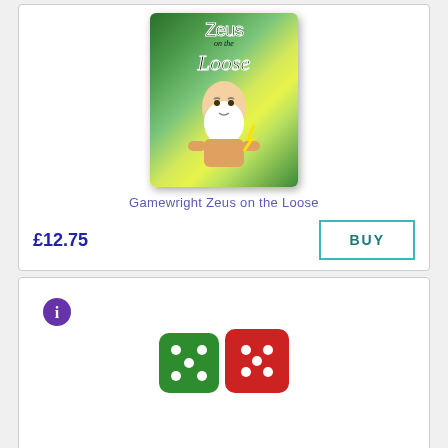[Figure (photo): Zeus on the Loose board game box showing Zeus character with white beard]
Gamewright Zeus on the Loose
£12.75
BUY
[Figure (illustration): Info icon (blue circle with white i) and partial image of two dice — green and red — at bottom of second product card]